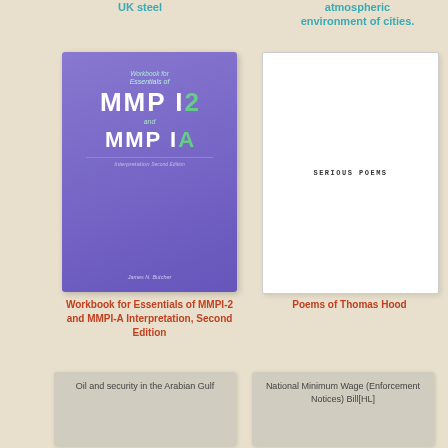UK steel
atmospheric environment of cities.
[Figure (photo): Book cover: Workbook for Essentials of MMPI-2 and MMPI-A Interpretation, Second Edition - purple cover]
[Figure (photo): Book cover: Serious Poems - white cover with minimal text]
Workbook for Essentials of MMPI-2 and MMPI-A Interpretation, Second Edition
Poems of Thomas Hood
[Figure (photo): Book cover: Oil and security in the Arabian Gulf - grey cover]
[Figure (photo): Book cover: National Minimum Wage (Enforcement Notices) Bill[HL] - grey cover]